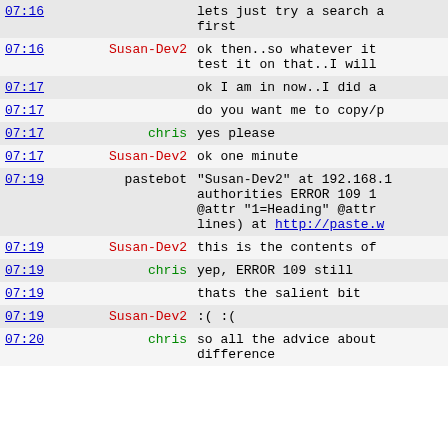| time | nick | message |
| --- | --- | --- |
| 07:16 |  | lets just try a search a first |
| 07:16 | Susan-Dev2 | ok then..so whatever it test it on that..I will  |
| 07:17 |  | ok I am in now..I did a |
| 07:17 |  | do you want me to copy/p |
| 07:17 | chris | yes please |
| 07:17 | Susan-Dev2 | ok one minute |
| 07:19 | pastebot | "Susan-Dev2" at 192.168.1 authorities ERROR 109 1 @attr "1=Heading" @attr lines) at http://paste.w |
| 07:19 | Susan-Dev2 | this is the contents of |
| 07:19 | chris | yep, ERROR 109 still |
| 07:19 |  | thats the salient bit |
| 07:19 | Susan-Dev2 | :( :( |
| 07:20 | chris | so all the advice about difference |